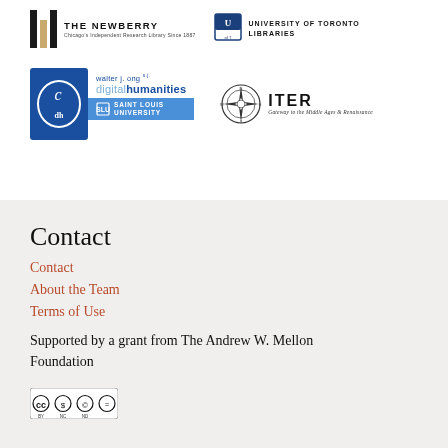[Figure (logo): The Newberry library logo with vertical bars and text 'THE NEWBERRY Chicago's Independent Research Library Since 1887']
[Figure (logo): University of Toronto Libraries logo with shield and text]
[Figure (logo): CDH Walter J. Ong S.J. Digital Humanities at Saint Louis University logo]
[Figure (logo): ITER Gateway to the Middle Ages & Renaissance logo with compass rose]
Contact
Contact
About the Team
Terms of Use
Supported by a grant from The Andrew W. Mellon Foundation
[Figure (logo): Creative Commons BY-NC-ND license badge]